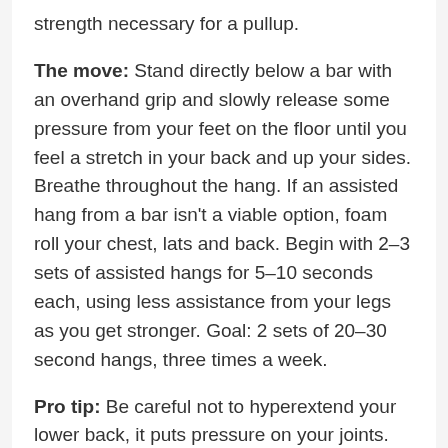strength necessary for a pullup.
The move: Stand directly below a bar with an overhand grip and slowly release some pressure from your feet on the floor until you feel a stretch in your back and up your sides. Breathe throughout the hang. If an assisted hang from a bar isn't a viable option, foam roll your chest, lats and back. Begin with 2–3 sets of assisted hangs for 5–10 seconds each, using less assistance from your legs as you get stronger. Goal: 2 sets of 20–30 second hangs, three times a week.
Pro tip: Be careful not to hyperextend your lower back, it puts pressure on your joints. Look straight ahead, not at your hands. If you feel pressure in the back of your neck, dip your chin slightly.
2. WALL SLIDES